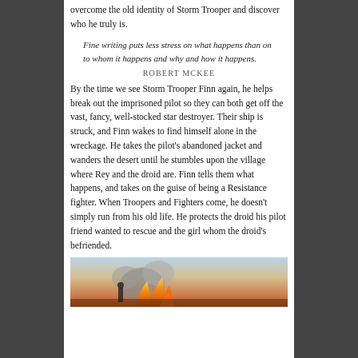overcome the old identity of Storm Trooper and discover who he truly is.
Fine writing puts less stress on what happens than on to whom it happens and why and how it happens.
ROBERT MCKEE
By the time we see Storm Trooper Finn again, he helps break out the imprisoned pilot so they can both get off the vast, fancy, well-stocked star destroyer. Their ship is struck, and Finn wakes to find himself alone in the wreckage. He takes the pilot's abandoned jacket and wanders the desert until he stumbles upon the village where Rey and the droid are. Finn tells them what happens, and takes on the guise of being a Resistance fighter. When Troopers and Fighters come, he doesn't simply run from his old life. He protects the droid his pilot friend wanted to rescue and the girl whom the droid's befriended.
[Figure (photo): Action scene photo showing figures amid fire and smoke with orange and blue tones]